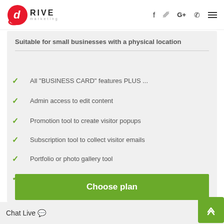[Figure (logo): Drive Marketing logo with red circular emblem and text]
Suitable for small businesses with a physical location
All "BUSINESS CARD" features PLUS ...
Admin access to edit content
Promotion tool to create visitor popups
Subscription tool to collect visitor emails
Portfolio or photo gallery tool
Integrated contact form
Choose plan
Chat Live 💬